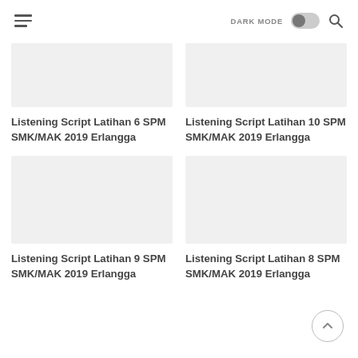DARK MODE [toggle] [search]
[Figure (screenshot): Thumbnail image placeholder for Listening Script Latihan 6]
Listening Script Latihan 6 SPM SMK/MAK 2019 Erlangga
[Figure (screenshot): Thumbnail image placeholder for Listening Script Latihan 10]
Listening Script Latihan 10 SPM SMK/MAK 2019 Erlangga
[Figure (screenshot): Thumbnail image placeholder for Listening Script Latihan 9]
Listening Script Latihan 9 SPM SMK/MAK 2019 Erlangga
[Figure (screenshot): Thumbnail image placeholder for Listening Script Latihan 8]
Listening Script Latihan 8 SPM SMK/MAK 2019 Erlangga